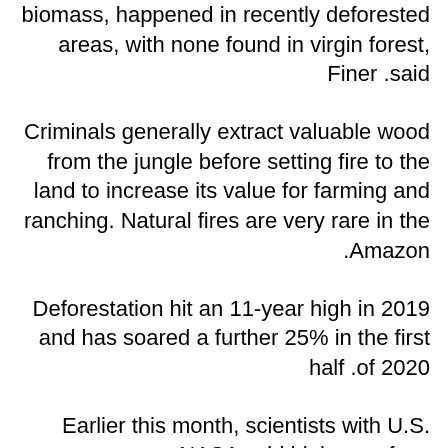biomass, happened in recently deforested areas, with none found in virgin forest, Finer said.
Criminals generally extract valuable wood from the jungle before setting fire to the land to increase its value for farming and ranching. Natural fires are very rare in the Amazon.
Deforestation hit an 11-year high in 2019 and has soared a further 25% in the first half of 2020.
Earlier this month, scientists with U.S. space agency NASA said higher surface temperatures in the tropical North Atlantic Ocean in 2020 were drawing moisture away